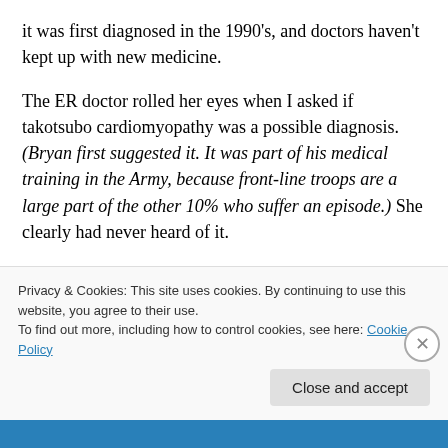it was first diagnosed in the 1990's, and doctors haven't kept up with new medicine.
The ER doctor rolled her eyes when I asked if takotsubo cardiomyopathy was a possible diagnosis. (Bryan first suggested it. It was part of his medical training in the Army, because front-line troops are a large part of the other 10% who suffer an episode.) She clearly had never heard of it.
Plus, she was offended that I was taking an active voice in
Privacy & Cookies: This site uses cookies. By continuing to use this website, you agree to their use.
To find out more, including how to control cookies, see here: Cookie Policy